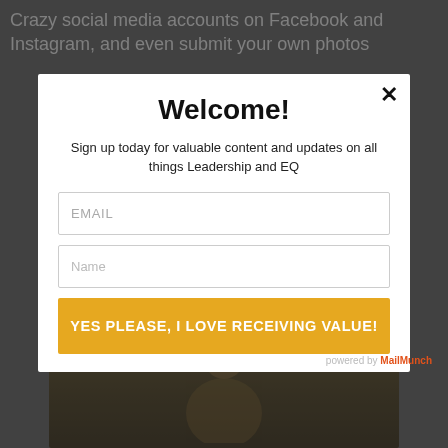Crazy social media accounts on Facebook and Instagram, and even submit your own photos
[Figure (screenshot): White modal popup dialog with close button (×), title 'Welcome!', subtitle text, email and name input fields, and a gold submit button. Background shows a darkened webpage with a photo of a smiling person at the bottom and a 'powered by MailMunch' attribution.]
Welcome!
Sign up today for valuable content and updates on all things Leadership and EQ
EMAIL
Name
YES PLEASE, I LOVE RECEIVING VALUE!
powered by MailMunch